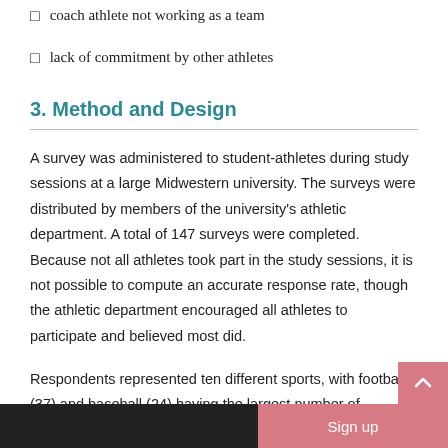coach athlete not working as a team
lack of commitment by other athletes
3. Method and Design
A survey was administered to student-athletes during study sessions at a large Midwestern university. The surveys were distributed by members of the university's athletic department. A total of 147 surveys were completed. Because not all athletes took part in the study sessions, it is not possible to compute an accurate response rate, though the athletic department encouraged all athletes to participate and believed most did.
Respondents represented ten different sports, with football (37) and baseball (24) having the largest number of participants. The